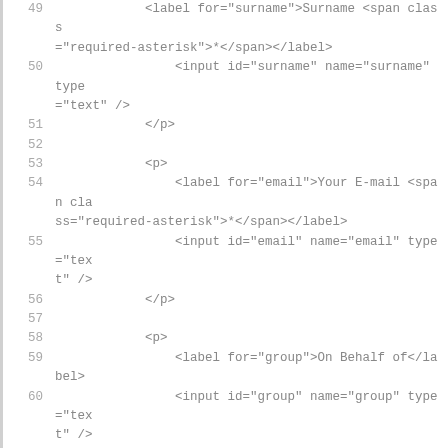Code listing lines 49-65 showing HTML form fields for surname, email, group, and country inputs